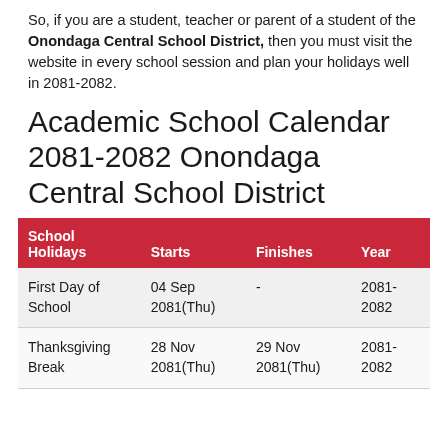So, if you are a student, teacher or parent of a student of the Onondaga Central School District, then you must visit the website in every school session and plan your holidays well in 2081-2082.
Academic School Calendar 2081-2082 Onondaga Central School District
| School Holidays | Starts | Finishes | Year |
| --- | --- | --- | --- |
| First Day of School | 04 Sep 2081(Thu) | - | 2081-2082 |
| Thanksgiving Break | 28 Nov 2081(Thu) | 29 Nov 2081(Thu) | 2081-2082 |